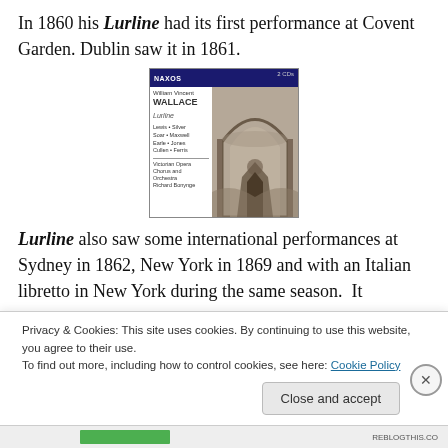In 1860 his Lurline had its first performance at Covent Garden. Dublin saw it in 1861.
[Figure (photo): Album cover for William Vincent Wallace Lurline, Naxos label, featuring cast listing and an archway scene illustration with figures]
Lurline also saw some international performances at Sydney in 1862, New York in 1869 and with an Italian libretto in New York during the same season. It
Privacy & Cookies: This site uses cookies. By continuing to use this website, you agree to their use.
To find out more, including how to control cookies, see here: Cookie Policy
Close and accept